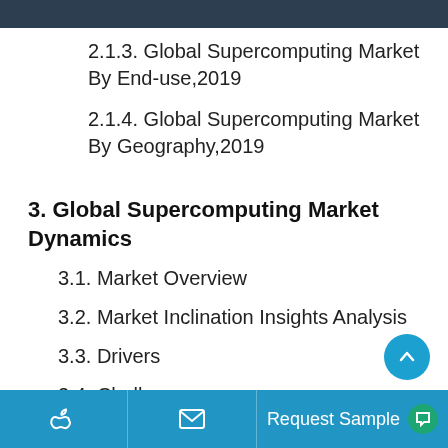2.1.3. Global Supercomputing Market By End-use,2019
2.1.4. Global Supercomputing Market By Geography,2019
3. Global Supercomputing Market Dynamics
3.1. Market Overview
3.2. Market Inclination Insights Analysis
3.3. Drivers
3.4. Challenges
3.5. Future Prospects